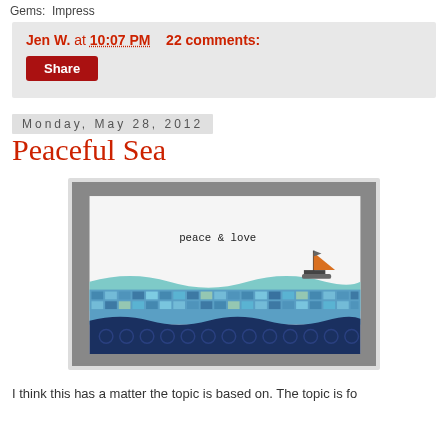Gems: Impress
Jen W. at 10:07 PM    22 comments:
Share
Monday, May 28, 2012
Peaceful Sea
[Figure (photo): A handmade greeting card reading 'peace & love' with layered blue wave patterns made from patterned paper and a small orange sailboat on the right side.]
I think this has a matter the topic is based on. The topic is fo...